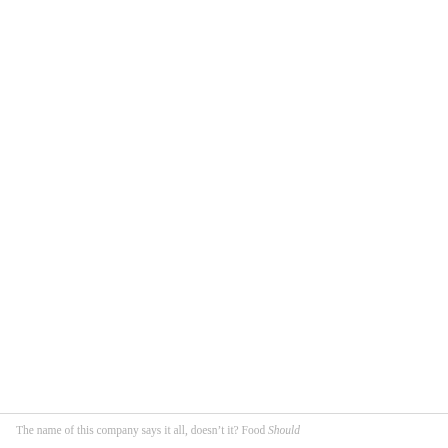The name of this company says it all, doesn't it? Food Should